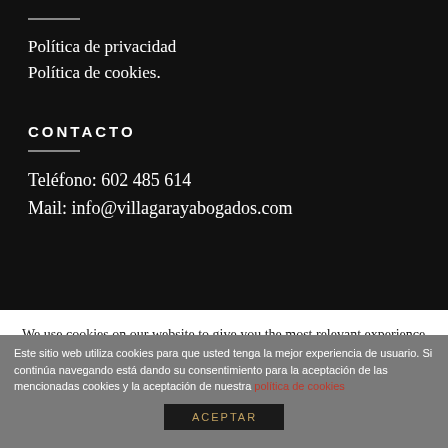Política de privacidad
Política de cookies.
CONTACTO
Teléfono: 602 485 614
Mail: info@villagarayabogados.com
We use cookies on our website to give you the most relevant experience by remembering your preferences and repeat visits. By clicking "Accept All", you consent to the use of ALL the cookies. However, you may visit "Cookie Settings" to provide a controlled consent.
Este sitio web utiliza cookies para que usted tenga la mejor experiencia de usuario. Si continúa navegando está dando su consentimiento para la aceptación de las mencionadas cookies y la aceptación de nuestra política de cookies
ACEPTAR